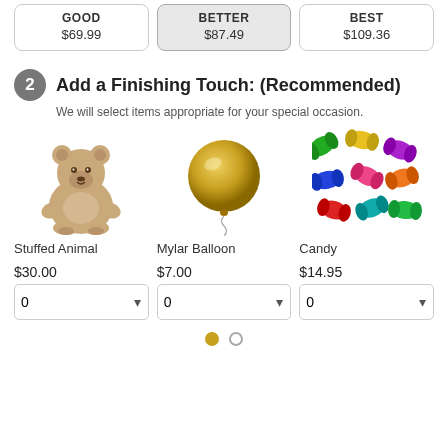| GOOD | BETTER | BEST |
| --- | --- | --- |
| $69.99 | $87.49 | $109.36 |
2 Add a Finishing Touch: (Recommended)
We will select items appropriate for your special occasion.
[Figure (illustration): Stuffed Animal - a brown teddy bear plush toy]
[Figure (illustration): Mylar Balloon - a round gold metallic balloon]
[Figure (illustration): Candy - colorful wrapped candy pieces scattered]
Stuffed Animal
Mylar Balloon
Candy
$30.00
$7.00
$14.95